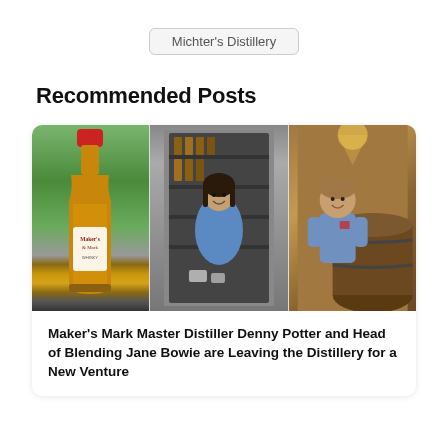Michter's Distillery
Recommended Posts
[Figure (photo): Composite image of three photos: a Maker's Mark whisky bottle outdoors, a woman smiling in a distillery shop setting, and a man leaning on a barrel in a distillery.]
Maker's Mark Master Distiller Denny Potter and Head of Blending Jane Bowie are Leaving the Distillery for a New Venture